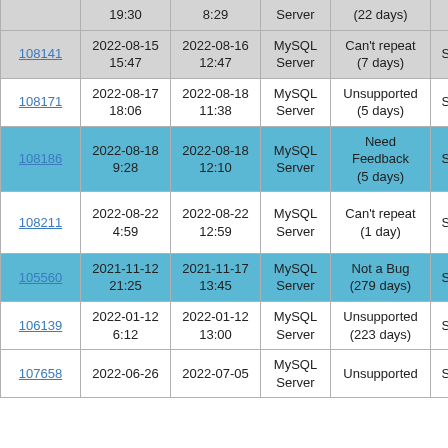| ID | Created | Updated | Component | Status | Sev | Version |
| --- | --- | --- | --- | --- | --- | --- |
|  | 19:30 | 8:29 | Server | (22 days) |  |  |
| 108141 | 2022-08-15 15:47 | 2022-08-16 12:47 | MySQL Server | Can't repeat (7 days) | S3 | 8.0.2 |
| 108171 | 2022-08-17 18:06 | 2022-08-18 11:38 | MySQL Server | Unsupported (5 days) | S2 | 8.0.2 |
| 108186 | 2022-08-18 9:28 | 2022-08-18 12:10 | MySQL Server | Need Feedback (5 days) | S3 | 8.0.3 |
| 108211 | 2022-08-22 4:59 | 2022-08-22 12:59 | MySQL Server | Can't repeat (1 day) | S3 | Ver 8 Oubu for Li |
| 105560 | 2021-11-12 21:25 | 2021-11-17 13:45 | MySQL Server | Not a Bug (279 days) | S2 | 8.0.2 |
| 106139 | 2022-01-12 6:12 | 2022-01-12 13:00 | MySQL Server | Unsupported (223 days) | S5 |  |
| 107658 | 2022-06-26 | 2022-07-05 | MySQL Server | Unsupported | S3 | 8.0.2 |